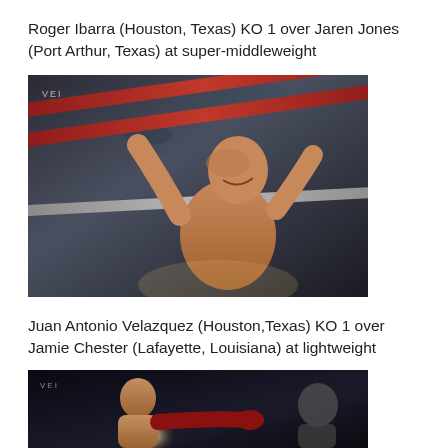Roger Ibarra (Houston, Texas) KO 1 over Jaren Jones (Port Arthur, Texas) at super-middleweight
[Figure (photo): Boxing ring photo: fighter celebrating under the ropes, looking upward, shirtless, taken from below ring level. VEI watermark visible top left.]
Juan Antonio Velazquez (Houston,Texas) KO 1 over Jamie Chester (Lafayette, Louisiana) at lightweight
[Figure (photo): Boxing ring photo: fighter throwing a punch toward opponent, dark arena background, VEI watermark visible top left. Partial image cut off at bottom.]